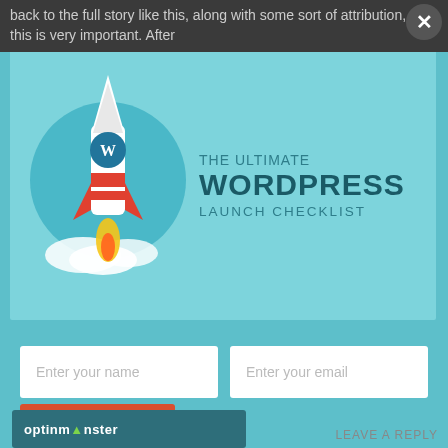back to the full story like this, along with some sort of attribution, so this is very important. After
[Figure (screenshot): WordPress launch checklist popup modal with rocket illustration on teal/cyan background. Shows rocket with WordPress logo launching upward. Right side text reads: THE ULTIMATE WORDPRESS LAUNCH CHECKLIST]
Enter your name
Enter your email
Download Now
[Figure (logo): OptinMonster logo on dark teal background bar]
LEAVE A REPLY